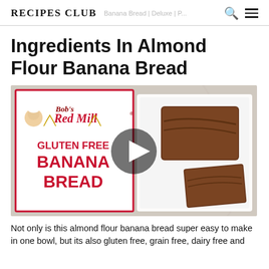RECIPES CLUB
Ingredients In Almond Flour Banana Bread
[Figure (photo): Bob's Red Mill Gluten Free Banana Bread product image on left side, with a video play button overlay in center, and a white plate with two slices of banana bread on right side. Marble surface background.]
Not only is this almond flour banana bread super easy to make in one bowl, but its also gluten free, grain free, dairy free and